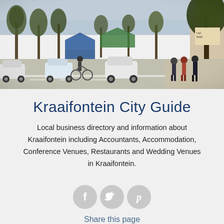[Figure (photo): Street scene in Kraaifontein showing a road with cars, market stalls, trees lining the street, and pedestrians]
Kraaifontein City Guide
Local business directory and information about Kraaifontein including Accountants, Accommodation, Conference Venues, Restaurants and Wedding Venues in Kraaifontein.
[Figure (infographic): Three social media share icons: Facebook (f), Twitter (bird), Pinterest (p) displayed as grey circles]
Share this page